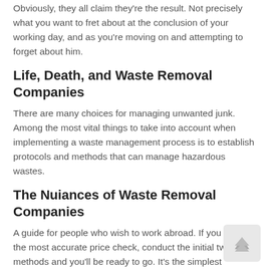Obviously, they all claim they're the result. Not precisely what you want to fret about at the conclusion of your working day, and as you're moving on and attempting to forget about him.
Life, Death, and Waste Removal Companies
There are many choices for managing unwanted junk. Among the most vital things to take into account when implementing a waste management process is to establish protocols and methods that can manage hazardous wastes.
The Nuiances of Waste Removal Companies
A guide for people who wish to work abroad. If you prefer the most accurate price check, conduct the initial two methods and you'll be ready to go. It's the simplest location to start an internet business for yourself but everyday an increasing number of folks are taking their selling and buying adventures to other websites.
It's your responsibility to make sure the sturdiness of whatever you build. Sometimes you simply need something which is fast...